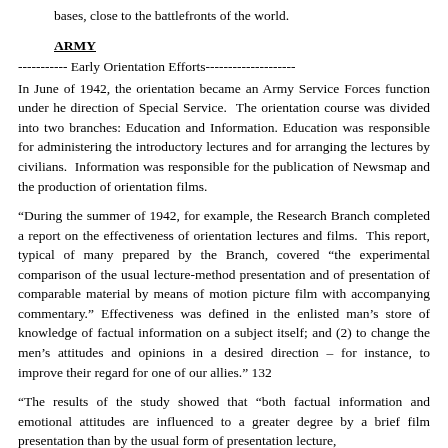bases, close to the battlefronts of the world.
ARMY
----------- Early Orientation Efforts--------------------
In June of 1942, the orientation became an Army Service Forces function under he direction of Special Service. The orientation course was divided into two branches: Education and Information. Education was responsible for administering the introductory lectures and for arranging the lectures by civilians. Information was responsible for the publication of Newsmap and the production of orientation films.
“During the summer of 1942, for example, the Research Branch completed a report on the effectiveness of orientation lectures and films. This report, typical of many prepared by the Branch, covered “the experimental comparison of the usual lecture-method presentation and of presentation of comparable material by means of motion picture film with accompanying commentary.” Effectiveness was defined in the enlisted man’s store of knowledge of factual information on a subject itself; and (2) to change the men’s attitudes and opinions in a desired direction – for instance, to improve their regard for one of our allies.” 132
“The results of the study showed that “both factual information and emotional attitudes are influenced to a greater degree by a brief film presentation than by the usual form of presentation lecture,